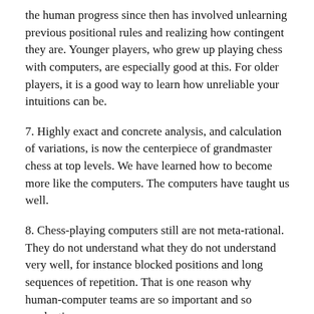the human progress since then has involved unlearning previous positional rules and realizing how contingent they are.  Younger players, who grew up playing chess with computers, are especially good at this.  For older players, it is a good way to learn how unreliable your intuitions can be.
7. Highly exact and concrete analysis, and calculation of variations, is now the centerpiece of grandmaster chess at top levels.  We have learned how to become more like the computers.  The computers have taught us well.
8. Chess-playing computers still are not meta-rational.  They do not understand what they do not understand very well, for instance blocked positions and long sequences of repetition.  That is one reason why human-computer teams are so important and so productive.
Here is Kasparov on Watson.  Here is Kasparov on AI and chess.  Here is a good treatment of human-computer teams.
0 Comments